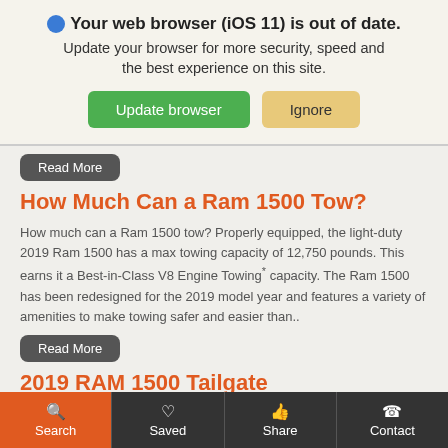🌐 Your web browser (iOS 11) is out of date. Update your browser for more security, speed and the best experience on this site. Update browser | Ignore
Read More
How Much Can a Ram 1500 Tow?
How much can a Ram 1500 tow? Properly equipped, the light-duty 2019 Ram 1500 has a max towing capacity of 12,750 pounds. This earns it a Best-in-Class V8 Engine Towing* capacity. The Ram 1500 has been redesigned for the 2019 model year and features a variety of amenities to make towing safer and easier than..
Read More
2019 RAM 1500 Tailgate
Search | Saved | Share | Contact